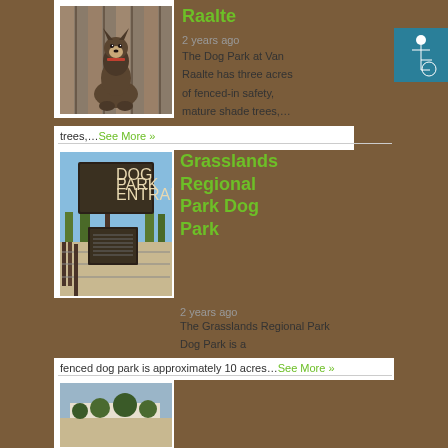[Figure (photo): A German Shepherd dog sitting in front of a wooden fence/wall background]
Raalte
2 years ago
The Dog Park at Van Raalte has three acres of fenced-in safety, mature shade trees,…
See More »
[Figure (photo): Entrance sign to a dog park reading DOG PARK ENTRANCE, with open grassland and fence visible]
Grasslands Regional Park Dog Park
2 years ago
The Grasslands Regional Park Dog Park is a fenced dog park is approximately 10 acres…
See More »
[Figure (photo): Partial view of a third park entry photo (cut off at bottom of page)]
[Figure (logo): Accessibility icon (wheelchair symbol) on teal background]